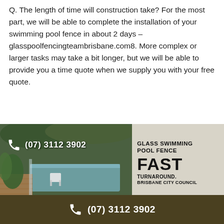Q. The length of time will construction take? For the most part, we will be able to complete the installation of your swimming pool fence in about 2 days – glasspoolfencingteambrisbane.com8. More complex or larger tasks may take a bit longer, but we will be able to provide you a time quote when we supply you with your free quote.
[Figure (photo): Composite image: left side shows a swimming pool with glass fence, lush green plants, wooden decking, white chair, with phone number (07) 3112 3902 overlaid; right side shows advertisement text on grey background: GLASS SWIMMING POOL FENCE FAST TURNAROUND. BRISBANE CITY COUNCIL]
(07) 3112 3902